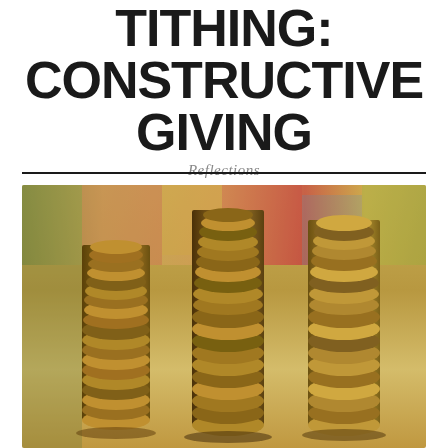TITHING: CONSTRUCTIVE GIVING
Reflections
[Figure (photo): Three tall stacks of coins arranged in ascending height order, photographed against a blurred colorful background, suggesting financial growth and giving]